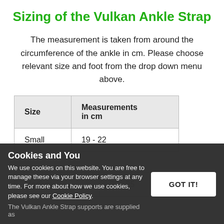Sizing of the Vulkan Ankle Strap
The measurement is taken from around the circumference of the ankle in cm. Please choose relevant size and foot from the drop down menu above.
| Size | Measurements in cm |
| --- | --- |
| Small | 19 - 22 |
| Medium | 22 - 25 |
Cookies and You
We use cookies on this website. You are free to manage these via your browser settings at any time. For more about how we use cookies, please see our Cookie Policy.
The Vulkan Ankle Strap supports are supplied as